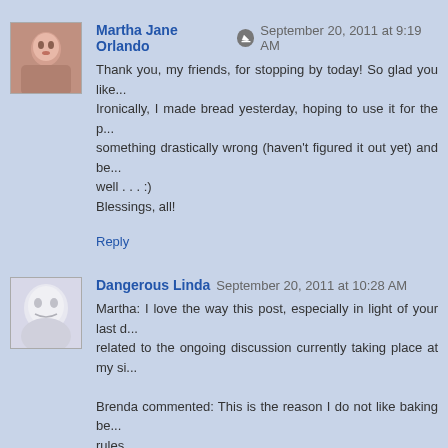Martha Jane Orlando  September 20, 2011 at 9:19 AM
Thank you, my friends, for stopping by today! So glad you like... Ironically, I made bread yesterday, hoping to use it for the p... something drastically wrong (haven't figured it out yet) and be... well . . . :)
Blessings, all!
Reply
Dangerous Linda  September 20, 2011 at 10:28 AM
Martha: I love the way this post, especially in light of your last d... related to the ongoing discussion currently taking place at my si...

Brenda commented: This is the reason I do not like baking be... rules...

http://www.dangerouslinda.com/?p=1051#comments

Socially and spiritually we need to find a balance between foll... creative expression.